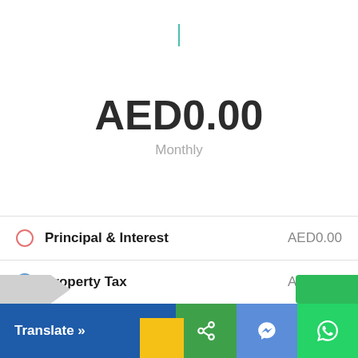AED0.00
Monthly
Principal & Interest    AED0.00
Property Tax    AED0.00
Home Insurance    AED0.00